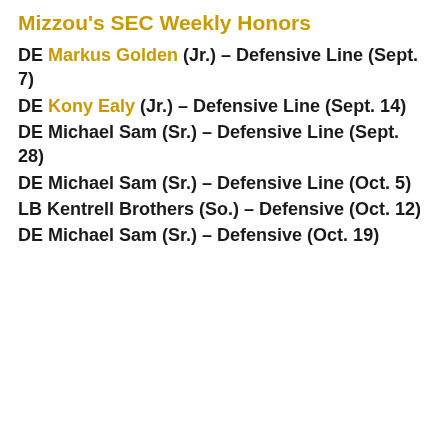Mizzou's SEC Weekly Honors
DE Markus Golden (Jr.) – Defensive Line (Sept. 7)
DE Kony Ealy (Jr.) – Defensive Line (Sept. 14)
DE Michael Sam (Sr.) – Defensive Line (Sept. 28)
DE Michael Sam (Sr.) – Defensive Line (Oct. 5)
LB Kentrell Brothers (So.) – Defensive (Oct. 12)
DE Michael Sam (Sr.) – Defensive (Oct. 19)